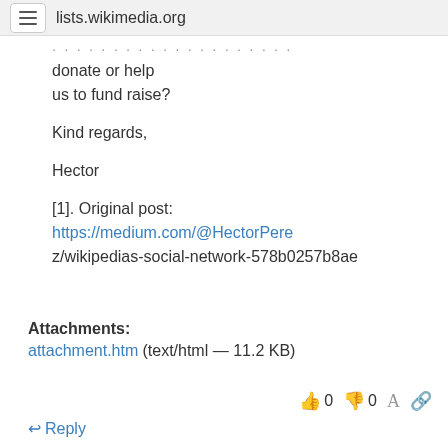lists.wikimedia.org
donate or help
us to fund raise?
Kind regards,
Hector
[1]. Original post: https://medium.com/@HectorPerez/wikipedias-social-network-578b0257b8ae
Attachments:
attachment.htm (text/html — 11.2 KB)
↩ Reply